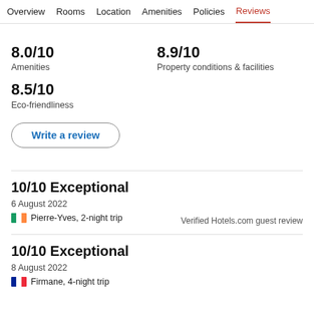Overview  Rooms  Location  Amenities  Policies  Reviews
8.0/10
Amenities
8.9/10
Property conditions & facilities
8.5/10
Eco-friendliness
Write a review
10/10 Exceptional
6 August 2022
Pierre-Yves, 2-night trip
Verified Hotels.com guest review
10/10 Exceptional
8 August 2022
Firmane, 4-night trip